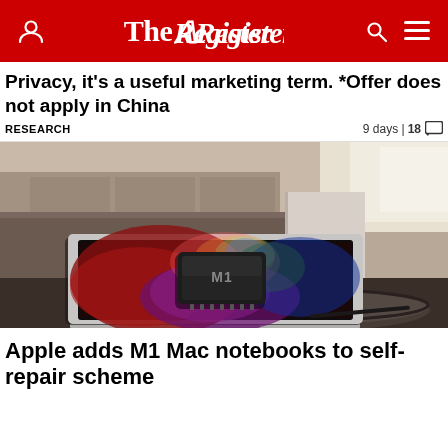The Register
Privacy, it's a useful marketing term. *Offer does not apply in China
RESEARCH   9 days | 18 comments
[Figure (photo): MacBook laptop open on a round table in a kitchen/living area, screen displaying a glowing M1 chip graphic with colorful light effects]
Apple adds M1 Mac notebooks to self-repair scheme